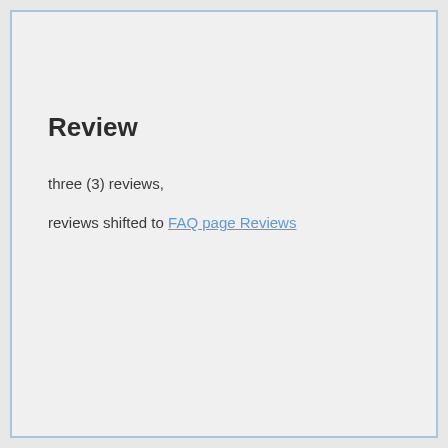Review
three (3) reviews,
reviews shifted to FAQ page Reviews